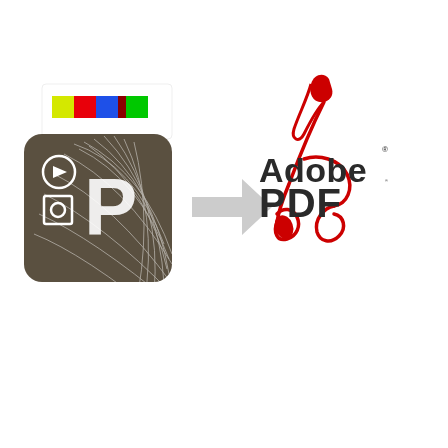[Figure (illustration): Presentation software logo (dark brown square icon with play button, circle/square icons and letter P, plus colorful bar strip at top) with a grey right-arrow pointing to the Adobe PDF logo (red scissors/quill pen graphic with 'Adobe PDF' text in dark grey)]